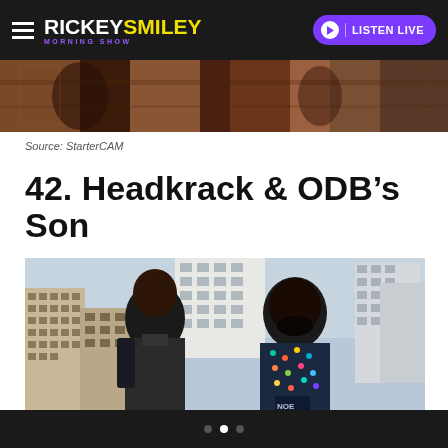RICKEY SMILEY MORNING SHOW — LISTEN LIVE
[Figure (photo): Top strip partial photo showing people in an indoor/outdoor setting]
Source: StarterCAM
42. Headkrack & ODB's Son
[Figure (photo): Two young Black men standing in front of an urban city skyline with buildings in the background. The man on the left wears a dark jacket with a backpack; the man on the right wears a colorful graphic t-shirt.]
• • •